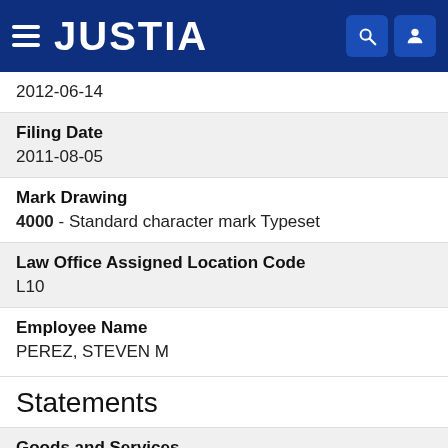JUSTIA
2012-06-14
Filing Date
2011-08-05
Mark Drawing
4000 - Standard character mark Typeset
Law Office Assigned Location Code
L10
Employee Name
PEREZ, STEVEN M
Statements
Goods and Services
Providing and transmitting information and data in the